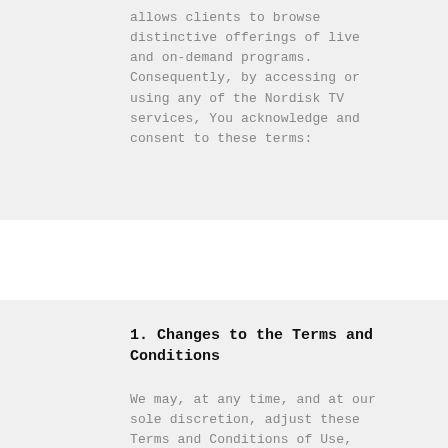allows clients to browse distinctive offerings of live and on-demand programs. Consequently, by accessing or using any of the Nordisk TV services, You acknowledge and consent to these terms:
1. Changes to the Terms and Conditions
We may, at any time, and at our sole discretion, adjust these Terms and Conditions of Use, including our Privacy